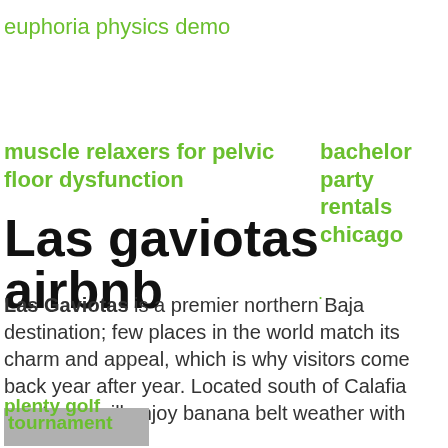euphoria physics demo
muscle relaxers for pelvic floor dysfunction
bachelor party rentals chicago
Las gaviotas airbnb
Las Gaviotas is a premier northern Baja destination; few places in the world match its charm and appeal, which is why visitors come back year after year. Located south of Calafia point, you will enjoy banana belt weather with
plenty golf
tournament